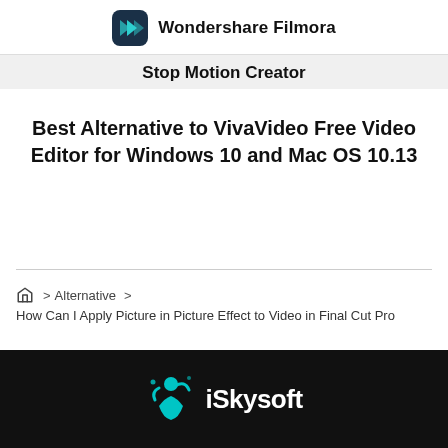Wondershare Filmora
Stop Motion Creator
Best Alternative to VivaVideo Free Video Editor for Windows 10 and Mac OS 10.13
How Can I Apply Picture in Picture Effect to Video in Final Cut Pro
[Figure (logo): iSkysoft logo with teal figure icon and white text on black background]